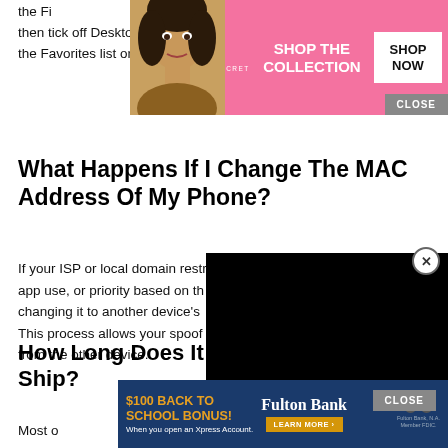the Favorites tab, then tick off Desktop and other folders you want to add to the Favorites list on the sidebar.
[Figure (screenshot): Victoria's Secret advertisement banner with model photo, pink background, 'SHOP THE COLLECTION' text, 'SHOP NOW' button, and 'CLOSE' button]
What Happens If I Change The MAC Address Of My Phone?
If your ISP or local domain restricts a device's bandwidth, app use, or priority based on the MAC address, changing it to another device's MAC address can help. This process allows your spoofed device to grab priority from the other device.
[Figure (screenshot): Black video player overlay with close (X) button]
How Long Does It Take Mac Tools To Ship?
Most of ... in the
[Figure (screenshot): Fulton Bank advertisement: '$100 BACK TO SCHOOL BONUS! When you open an Xpress Account. LEARN MORE' with CLOSE button]